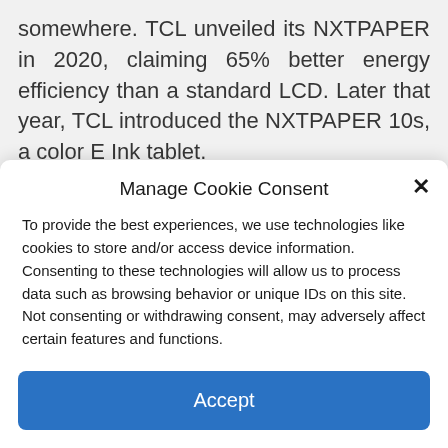somewhere. TCL unveiled its NXTPAPER in 2020, claiming 65% better energy efficiency than a standard LCD. Later that year, TCL introduced the NXTPAPER 10s, a color E Ink tablet.
E Ink, the brand, recently announced its E Ink Gallery 3, a new E Ink color technology
Manage Cookie Consent
To provide the best experiences, we use technologies like cookies to store and/or access device information. Consenting to these technologies will allow us to process data such as browsing behavior or unique IDs on this site. Not consenting or withdrawing consent, may adversely affect certain features and functions.
Accept